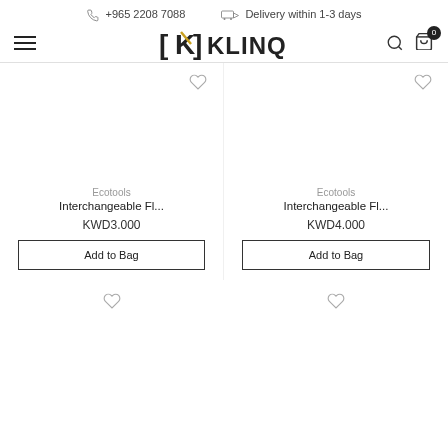+965 2208 7088   Delivery within 1-3 days
[Figure (logo): KLINQ logo with stylized K in brackets]
Ecotools
Interchangeable Fl...
KWD3.000
Ecotools
Interchangeable Fl...
KWD4.000
Add to Bag
Add to Bag